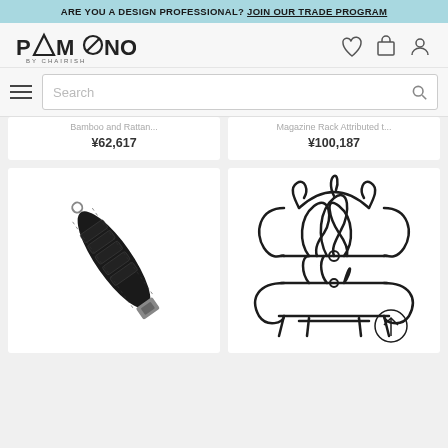ARE YOU A DESIGN PROFESSIONAL? JOIN OUR TRADE PROGRAM
[Figure (logo): PAMONO BY CHAIRISH logo with geometric letterforms]
Bamboo and Rattan... ¥62,617
Magazine Rack Attributed t... ¥100,187
[Figure (photo): Black leather strap/case product photo on white background]
[Figure (photo): Black wrought iron ornate magazine rack product photo on white background]